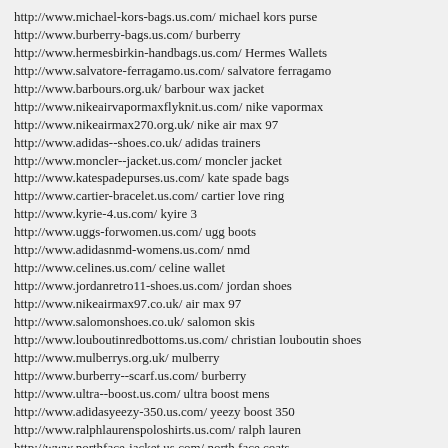http://www.michael-kors-bags.us.com/ michael kors purse
http://www.burberry-bags.us.com/ burberry
http://www.hermesbirkin-handbags.us.com/ Hermes Wallets
http://www.salvatore-ferragamo.us.com/ salvatore ferragamo
http://www.barbours.org.uk/ barbour wax jacket
http://www.nikeairvapormaxflyknit.us.com/ nike vapormax
http://www.nikeairmax270.org.uk/ nike air max 97
http://www.adidas--shoes.co.uk/ adidas trainers
http://www.moncler--jacket.us.com/ moncler jacket
http://www.katespadepurses.us.com/ kate spade bags
http://www.cartier-bracelet.us.com/ cartier love ring
http://www.kyrie-4.us.com/ kyire 3
http://www.uggs-forwomen.us.com/ ugg boots
http://www.adidasnmd-womens.us.com/ nmd
http://www.celines.us.com/ celine wallet
http://www.jordanretro11-shoes.us.com/ jordan shoes
http://www.nikeairmax97.co.uk/ air max 97
http://www.salomonshoes.co.uk/ salomon skis
http://www.louboutinredbottoms.us.com/ christian louboutin shoes
http://www.mulberrys.org.uk/ mulberry
http://www.burberry--scarf.us.com/ burberry
http://www.ultra--boost.us.com/ ultra boost mens
http://www.adidasyeezy-350.us.com/ yeezy boost 350
http://www.ralphlaurenspoloshirts.us.com/ ralph lauren
http://www.northface-jacket.us.com/ north face coats